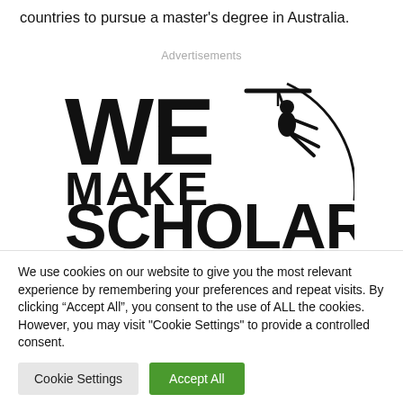countries to pursue a master's degree in Australia.
Advertisements
[Figure (logo): We Make Scholars logo with silhouette of person on trapeze and circular arc]
We use cookies on our website to give you the most relevant experience by remembering your preferences and repeat visits. By clicking “Accept All”, you consent to the use of ALL the cookies. However, you may visit "Cookie Settings" to provide a controlled consent.
Cookie Settings
Accept All